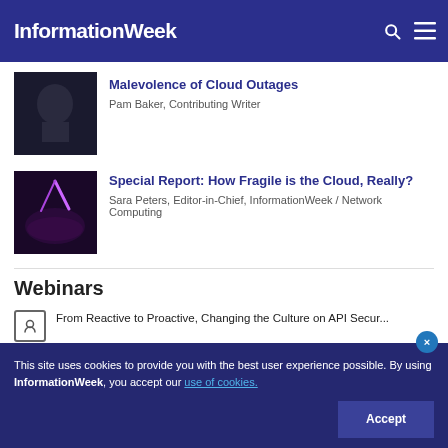InformationWeek
Malevolence of Cloud Outages
Pam Baker, Contributing Writer
Special Report: How Fragile is the Cloud, Really?
Sara Peters, Editor-in-Chief, InformationWeek / Network Computing
Webinars
From Reactive to Proactive, Changing the Culture on API Secur...
This site uses cookies to provide you with the best user experience possible. By using InformationWeek, you accept our use of cookies.